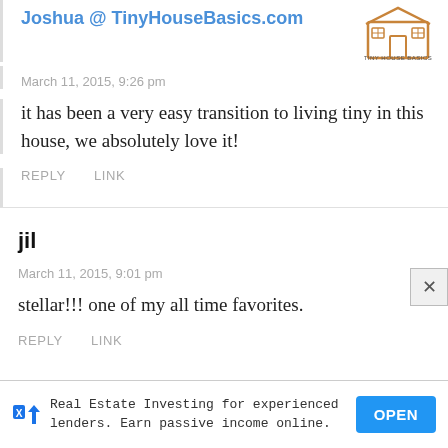Joshua @ TinyHouseBasics.com
March 11, 2015, 9:26 pm
it has been a very easy transition to living tiny in this house, we absolutely love it!
REPLY   LINK
jil
March 11, 2015, 9:01 pm
stellar!!! one of my all time favorites.
REPLY   LINK
Real Estate Investing for experienced lenders. Earn passive income online.